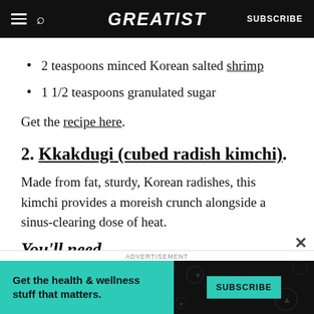GREATIST | SUBSCRIBE
2 teaspoons minced Korean salted shrimp
1 1/2 teaspoons granulated sugar
Get the recipe here.
2. Kkakdugi (cubed radish kimchi)
Made from fat, sturdy, Korean radishes, this kimchi provides a moreish crunch alongside a sinus-clearing dose of heat.
You'll need
ADVERTISEMENT
Get the health & wellness stuff that matters. SUBSCRIBE